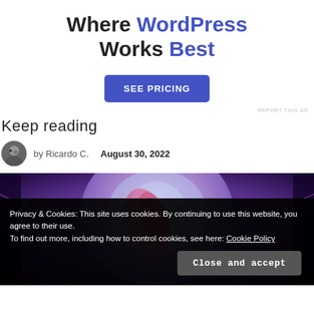Where WordPress Works Best
[Figure (other): SEE PRICING button — blue rounded rectangle CTA button]
REPORT THIS AD
Keep reading
by Ricardo C.   August 30, 2022
[Figure (illustration): Hero image with purple/pink abstract digital art background featuring a circular disc shape and glowing neon colors]
Privacy & Cookies: This site uses cookies. By continuing to use this website, you agree to their use.
To find out more, including how to control cookies, see here: Cookie Policy
Close and accept